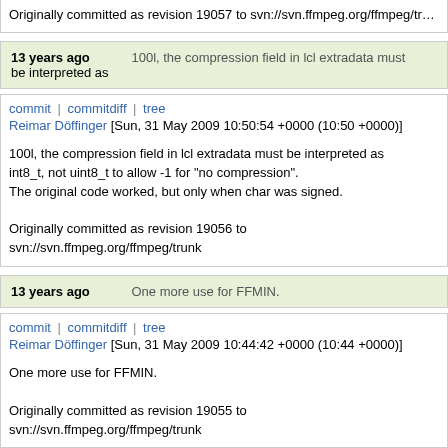Originally committed as revision 19057 to svn://svn.ffmpeg.org/ffmpeg/trunk
13 years ago   100l, the compression field in lcl extradata must be interpreted as
commit | commitdiff | tree
Reimar Döffinger [Sun, 31 May 2009 10:50:54 +0000 (10:50 +0000)]
100l, the compression field in lcl extradata must be interpreted as
int8_t, not uint8_t to allow -1 for "no compression".
The original code worked, but only when char was signed.

Originally committed as revision 19056 to svn://svn.ffmpeg.org/ffmpeg/trunk
13 years ago   One more use for FFMIN.
commit | commitdiff | tree
Reimar Döffinger [Sun, 31 May 2009 10:44:42 +0000 (10:44 +0000)]
One more use for FFMIN.

Originally committed as revision 19055 to svn://svn.ffmpeg.org/ffmpeg/trunk